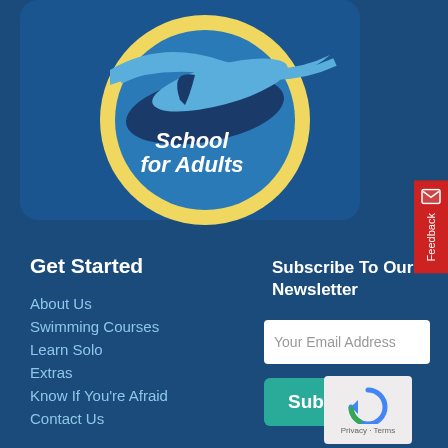[Figure (logo): School for Adults logo with two dolphins swimming in a circular blue and yellow emblem, text reads 'School for Adults']
Get Started
About Us
Swimming Courses
Learn Solo
Extras
Know If You're Afraid
Contact Us
Subscribe To Our Newsletter
Your Email Address
Subscribe
[Figure (other): reCAPTCHA widget showing circular arrow icon with Privacy and Terms links]